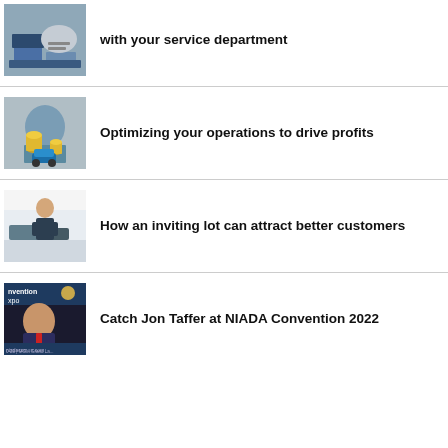Why you should integrate your F&I team with your service department
Optimizing your operations to drive profits
How an inviting lot can attract better customers
Catch Jon Taffer at NIADA Convention 2022